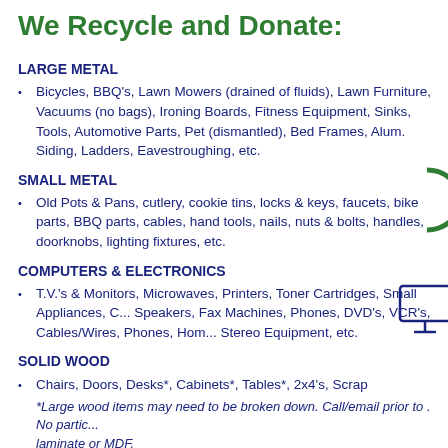We Recycle and Donate:
LARGE METAL
Bicycles, BBQ's, Lawn Mowers (drained of fluids), Lawn Furniture, Vacuums (no bags), Ironing Boards, Fitness Equipment, Sinks, Tools, Automotive Parts, Pet (dismantled), Bed Frames, Alum. Siding, Ladders, Eavestroughing, etc.
SMALL METAL
Old Pots & Pans, cutlery, cookie tins, locks & keys, faucets, bike parts, BBQ parts, cables, hand tools, nails, nuts & bolts, handles, doorknobs, lighting fixtures, etc.
COMPUTERS & ELECTRONICS
T.V.'s & Monitors, Microwaves, Printers, Toner Cartridges, Small Appliances, C... Speakers, Fax Machines, Phones, DVD's, VCR's, Cables/Wires, Phones, Home... Stereo Equipment, etc.
SOLID WOOD
Chairs, Doors, Desks*, Cabinets*, Tables*, 2x4's, Scrap
*Large wood items may need to be broken down. Call/email prior to . No partic... laminate or MDF.